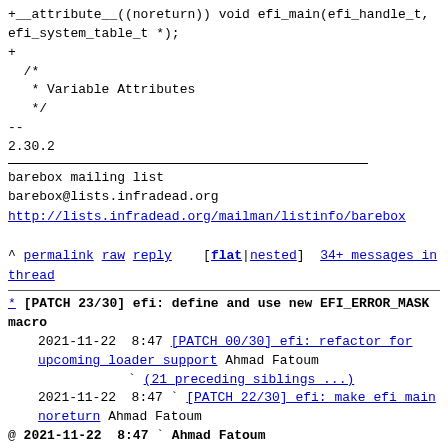+__attribute__((noreturn)) void efi_main(efi_handle_t,
efi_system_table_t *);
+
  /*
   * Variable Attributes
   */
--
2.30.2
barebox mailing list
barebox@lists.infradead.org
http://lists.infradead.org/mailman/listinfo/barebox
^ permalink raw reply    [flat|nested]  34+ messages in thread
* [PATCH 23/30] efi: define and use new EFI_ERROR_MASK macro
  2021-11-22  8:47 [PATCH 00/30] efi: refactor for upcoming_loader_support Ahmad Fatoum
              ` (21 preceding siblings ...)
  2021-11-22  8:47 ` [PATCH 22/30] efi: make efi main noreturn Ahmad Fatoum
@ 2021-11-22  8:47 ` Ahmad Fatoum
  2021-11-22  8:47 ` [PATCH 24/30] common: move